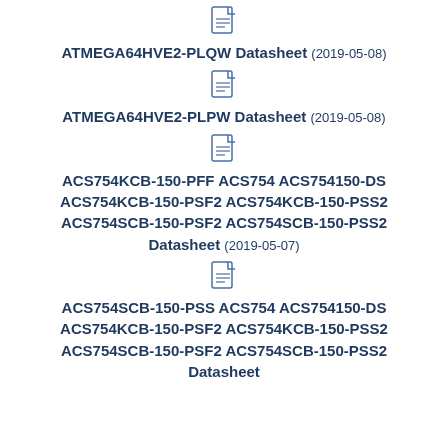[Figure (other): Document icon for ATMEGA64HVE2-PLQW datasheet]
ATMEGA64HVE2-PLQW Datasheet (2019-05-08)
[Figure (other): Document icon for ATMEGA64HVE2-PLPW datasheet]
ATMEGA64HVE2-PLPW Datasheet (2019-05-08)
[Figure (other): Document icon for ACS754 datasheet]
ACS754KCB-150-PFF ACS754 ACS754150-DS ACS754KCB-150-PSF2 ACS754KCB-150-PSS2 ACS754SCB-150-PSF2 ACS754SCB-150-PSS2 Datasheet (2019-05-07)
[Figure (other): Document icon for ACS754SCB-150 datasheet]
ACS754SCB-150-PSS ACS754 ACS754150-DS ACS754KCB-150-PSF2 ACS754KCB-150-PSS2 ACS754SCB-150-PSF2 ACS754SCB-150-PSS2 Datasheet